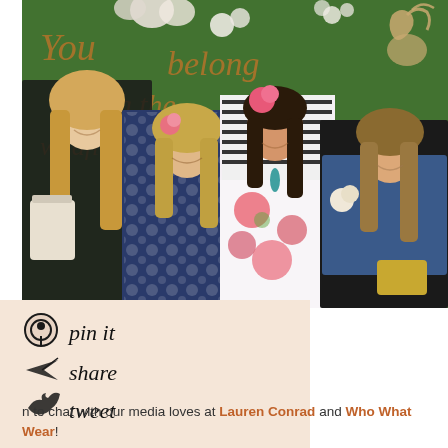[Figure (photo): Four women posing together in front of a green floral wall backdrop with calligraphy text 'You belong among the wildflowers'. Women are dressed in various outfits including floral, striped, patterned, and black attire. Two have flowers in their hair.]
[Figure (infographic): Social sharing buttons: Pinterest pin it, share (paper plane icon), tweet (Twitter bird icon) on a peach/blush background panel]
n to chat with our media loves at Lauren Conrad and Who What Wear!